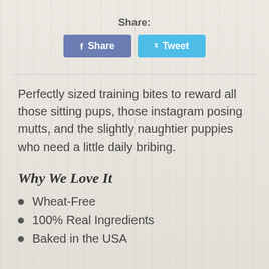Share:
[Figure (infographic): Social share buttons: Facebook Share (blue-grey) and Twitter Tweet (light blue)]
Perfectly sized training bites to reward all those sitting pups, those instagram posing mutts, and the slightly naughtier puppies who need a little daily bribing.
Why We Love It
Wheat-Free
100% Real Ingredients
Baked in the USA